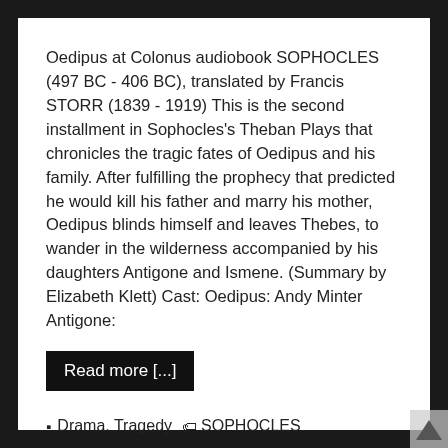Oedipus at Colonus audiobook SOPHOCLES (497 BC - 406 BC), translated by Francis STORR (1839 - 1919) This is the second installment in Sophocles's Theban Plays that chronicles the tragic fates of Oedipus and his family. After fulfilling the prophecy that predicted he would kill his father and marry his mother, Oedipus blinds himself and leaves Thebes, to wander in the wilderness accompanied by his daughters Antigone and Ismene. (Summary by Elizabeth Klett) Cast: Oedipus: Andy Minter Antigone:
Read more [...]
Drama, Tragedy  SOPHOCLES